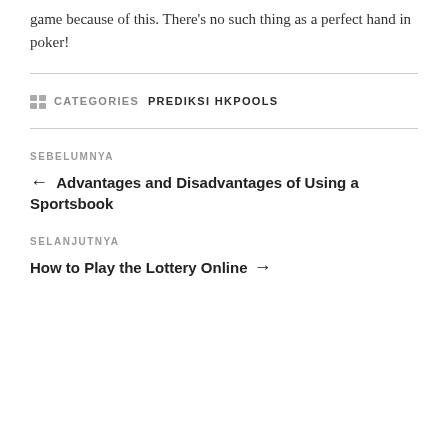game because of this. There's no such thing as a perfect hand in poker!
CATEGORIES: PREDIKSI HKPOOLS
SEBELUMNYA
← Advantages and Disadvantages of Using a Sportsbook
SELANJUTNYA
How to Play the Lottery Online →